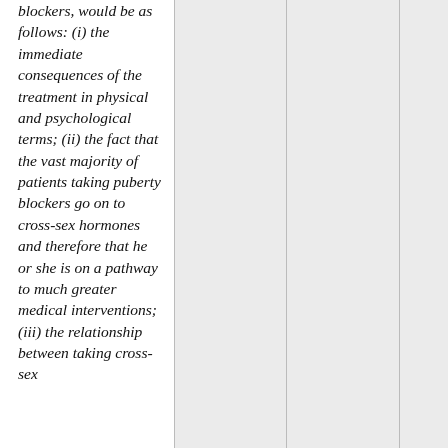blockers, would be as follows: (i) the immediate consequences of the treatment in physical and psychological terms; (ii) the fact that the vast majority of patients taking puberty blockers go on to cross-sex hormones and therefore that he or she is on a pathway to much greater medical interventions; (iii) the relationship between taking cross-sex